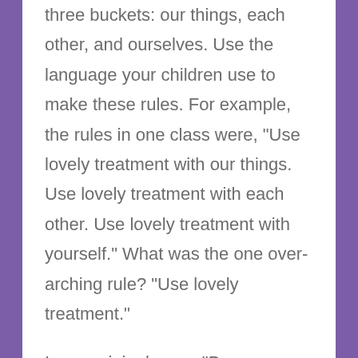three buckets: our things, each other, and ourselves. Use the language your children use to make these rules. For example, the rules in one class were, "Use lovely treatment with our things. Use lovely treatment with each other. Use lovely treatment with yourself." What was the one over-arching rule? "Use lovely treatment."
In my original song, "Be Peaceful," the rules are,...
Continue Reading...